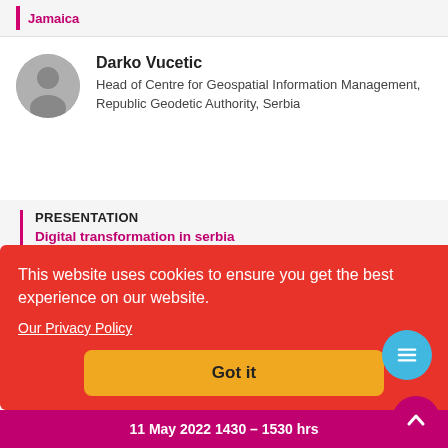Jamaica
Darko Vucetic
Head of Centre for Geospatial Information Management, Republic Geodetic Authority, Serbia
PRESENTATION
Digital transformation in serbia
SANDRA LILIANA MORENO MAYORGA
Technical Director Geostatistics, Departamento Administrativo Nacional de Estad?stica – DANE,
This website uses cookies to ensure you get the best experience on our website.
Our Privacy Policy
Got it
11 May 2022 1430 – 1530 hrs